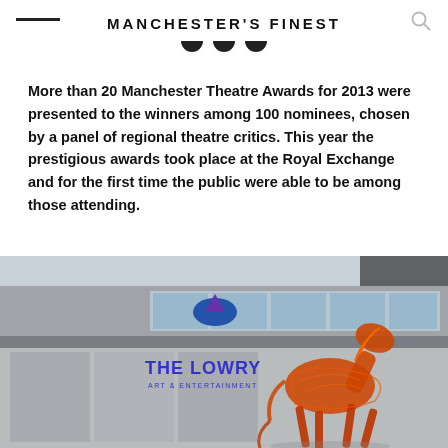MANCHESTER'S FINEST
More than 20 Manchester Theatre Awards for 2013 were presented to the winners among 100 nominees, chosen by a panel of regional theatre critics. This year the prestigious awards took place at the Royal Exchange and for the first time the public were able to be among those attending.
[Figure (photo): Exterior of The Lowry Art & Entertainment building with an orange wire sculpture of a horse in the foreground]